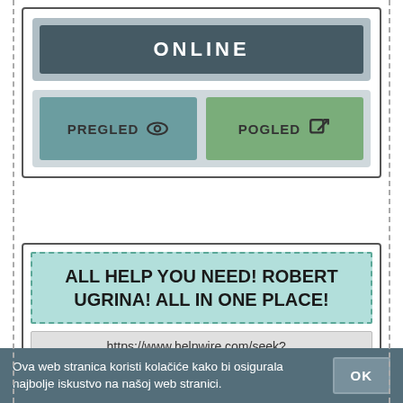[Figure (screenshot): ONLINE button card with PREGLED (eye icon) and POGLED (external link icon) buttons]
[Figure (screenshot): Advertisement card: ALL HELP YOU NEED! ROBERT UGRINA! ALL IN ONE PLACE! with URL https://www.helpwire.com/seek?... and description text]
Ova web stranica koristi kolačiće kako bi osigurala najbolje iskustvo na našoj web stranici.
OK